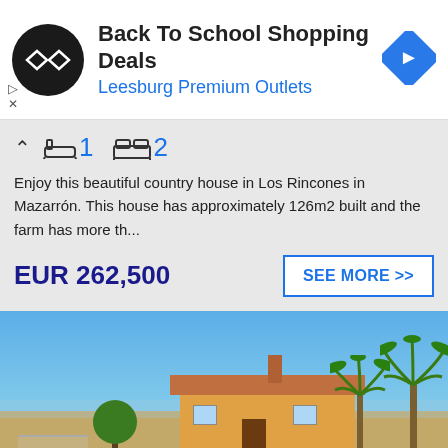[Figure (advertisement): Back To School Shopping Deals - Leesburg Premium Outlets ad banner with black circular logo and blue diamond navigation icon]
1   2
Enjoy this beautiful country house in Los Rincones in Mazarrón. This house has approximately 126m2 built and the farm has more th...
EUR 262,500
SEE MORE >>
[Figure (photo): Exterior photo of a Spanish country villa with terracotta roof, palm trees, and open land under blue sky]